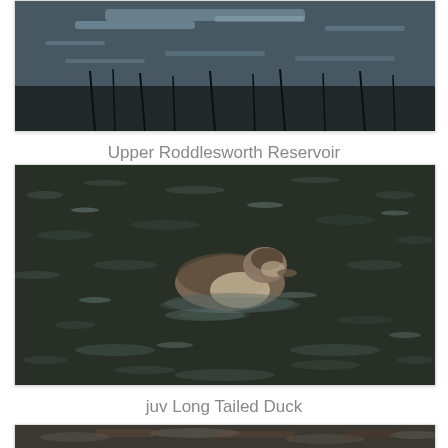[Figure (photo): Top portion of a photo showing Upper Roddlesworth Reservoir — dark water with reeds and reflections, partially cropped at top of page]
Upper Roddlesworth Reservoir
[Figure (photo): Photo of a juvenile Long Tailed Duck swimming on dark choppy water at Upper Roddlesworth Reservoir]
juv Long Tailed Duck
[Figure (photo): Bottom photo partially visible — dark water surface with ripples, cropped at bottom of page]